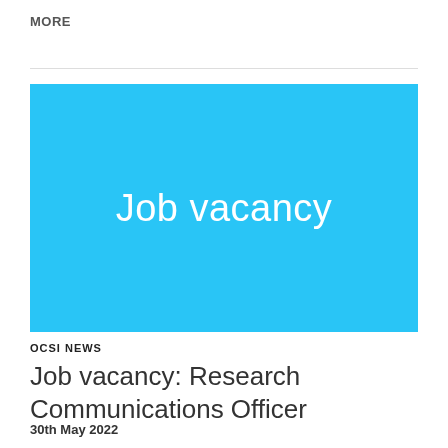MORE
[Figure (illustration): Cyan/sky-blue rectangle banner with white text reading 'Job vacancy']
OCSI NEWS
Job vacancy: Research Communications Officer
30th May 2022